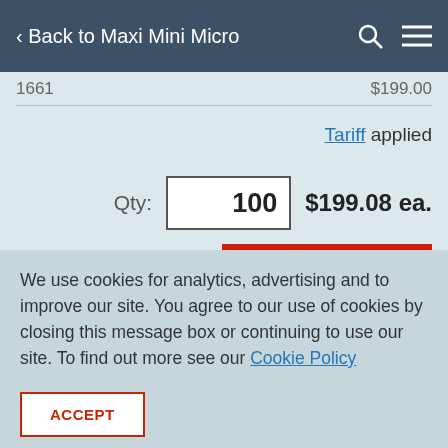< Back to Maxi Mini Micro
1661   $199.00
Tariff applied
Qty: 100   $199.08 ea.
We use cookies for analytics, advertising and to improve our site. You agree to our use of cookies by closing this message box or continuing to use our site. To find out more see our Cookie Policy
ACCEPT